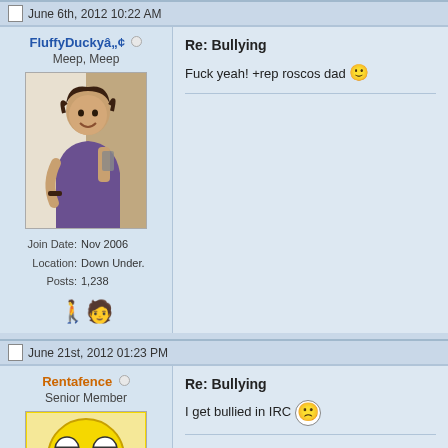June 6th, 2012 10:22 AM
FluffyDuckyâ„¢ - Meep, Meep - Join Date: Nov 2006 - Location: Down Under. - Posts: 1,238
Re: Bullying
Fuck yeah! +rep roscos dad 🙂
June 21st, 2012 01:23 PM
Rentafence - Senior Member
Re: Bullying
I get bullied in IRC 🙁